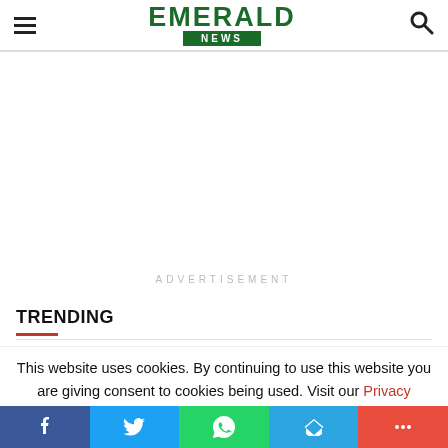EMERALD NEWS
[Figure (other): Advertisement placeholder area with text 'ADVERTISEMENT']
TRENDING
This website uses cookies. By continuing to use this website you are giving consent to cookies being used. Visit our Privacy
[Figure (other): Social sharing bar with Facebook, Twitter, WhatsApp, Telegram, and More buttons]